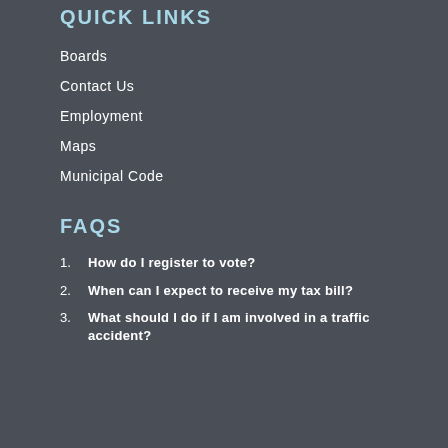QUICK LINKS
Boards
Contact Us
Employment
Maps
Municipal Code
FAQS
How do I register to vote?
When can I expect to receive my tax bill?
What should I do if I am involved in a traffic accident?